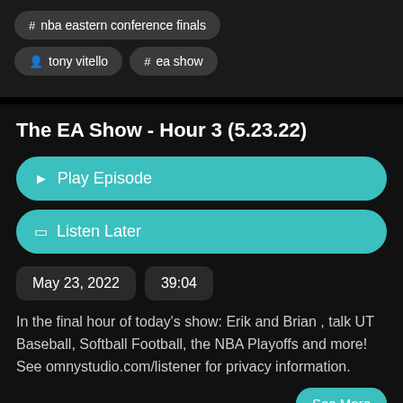# nba eastern conference finals
person tony vitello
# ea show
The EA Show - Hour 3 (5.23.22)
Play Episode
Listen Later
May 23, 2022
39:04
In the final hour of today's show: Erik and Brian , talk UT Baseball, Softball Football, the NBA Playoffs and more! See omnystudio.com/listener for privacy information.
See More